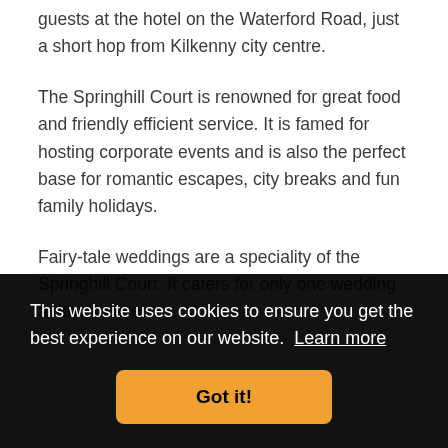guests at the hotel on the Waterford Road, just a short hop from Kilkenny city centre.
The Springhill Court is renowned for great food and friendly efficient service. It is famed for hosting corporate events and is also the perfect base for romantic escapes, city breaks and fun family holidays.
Fairy-tale weddings are a speciality of the Springhill Court. It caters for only one wedding a day, so even
This website uses cookies to ensure you get the best experience on our website. Learn more
Got it!
occasion.